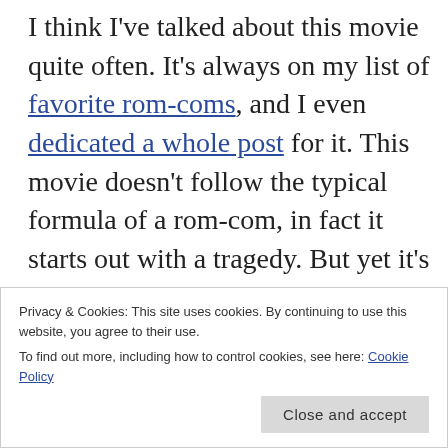I think I've talked about this movie quite often. It's always on my list of favorite rom-coms, and I even dedicated a whole post for it. This movie doesn't follow the typical formula of a rom-com, in fact it starts out with a tragedy. But yet it's a joyful movie despite its poignant subject matter, filled with a wonderful depiction of family live, sincere friendship and a love story between two people who've gone
Privacy & Cookies: This site uses cookies. By continuing to use this website, you agree to their use.
To find out more, including how to control cookies, see here: Cookie Policy
Close and accept